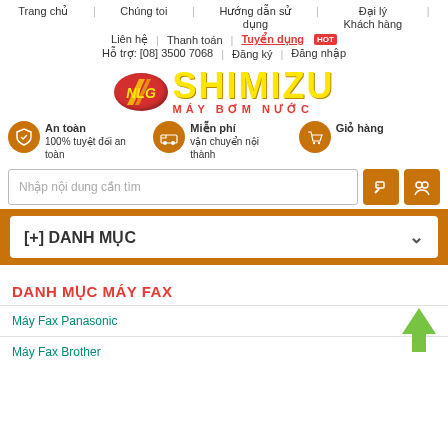Trang chủ | Chúng toi | Hướng dẫn sử dụng | Đại lý Khách hàng | Liên hệ | Thanh toán | Tuyển dụng HOT | Hỗ trợ: [08] 3500 7068 | Đăng ký | Đăng nhập
[Figure (logo): NLG Shimizu Máy Bơm Nước logo — red oval with NLG text, yellow SHIMIZU text, red MÁY BƠM NƯỚC subtitle]
An toàn 100% tuyệt đối an toàn | Miễn phí vận chuyển nội thành | Giỏ hàng
Nhập nội dung cần tìm
[+] DANH MỤC
DANH MỤC MÁY FAX
Máy Fax Panasonic
Máy Fax Brother